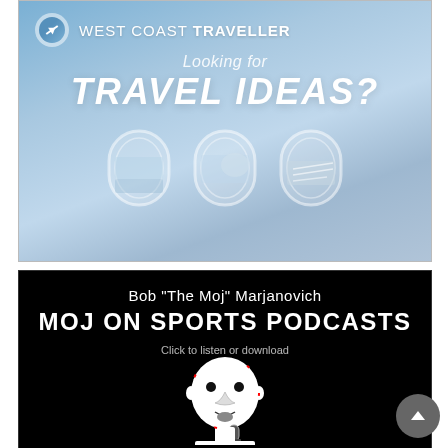[Figure (illustration): West Coast Traveller advertisement with gradient blue background showing airplane windows and text 'Looking for TRAVEL IDEAS?']
[Figure (illustration): Moj on Sports Podcasts advertisement with black background, showing Bob 'The Moj' Marjanovich text and a stylized illustration of a bald man with a microphone]